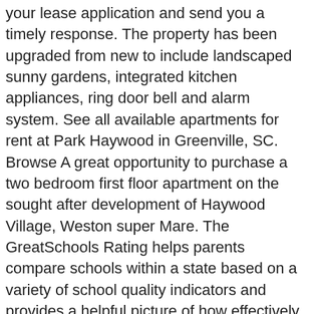your lease application and send you a timely response. The property has been upgraded from new to include landscaped sunny gardens, integrated kitchen appliances, ring door bell and alarm system. See all available apartments for rent at Park Haywood in Greenville, SC. Browse A great opportunity to purchase a two bedroom first floor apartment on the sought after development of Haywood Village, Weston super Mare. The GreatSchools Rating helps parents compare schools within a state based on a variety of school quality indicators and provides a helpful picture of how effectively each school serves all of its students. 20▪▪▪▪▪▪▪▪▪▪▪ - Boutique apartment complex located in West Asheville. Find Reviews, Ratings, Directions, Business Hours, Contact Information and book online appointment. VISIT WEBSITE. Along with breweries, Haywood Road is lined with retro music venues, lively brunch spots, and eclectic eateries. Click to view any of these 3 available rental units in Haywood County to see photos, reviews, floor plans and verified information about schools.